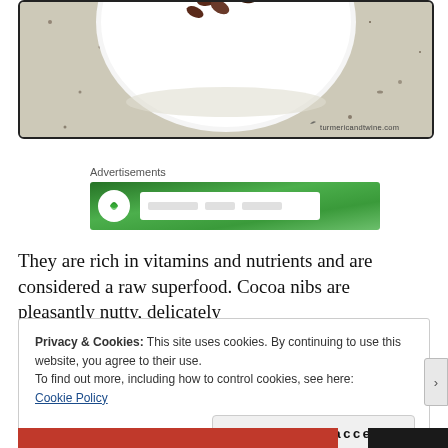[Figure (photo): Top-down photo of a white bowl with cocoa nibs on a speckled stone surface, with watermark 'turmericandtwine.com']
Advertisements
[Figure (screenshot): Green advertisement banner with white circle icon and white input area, partially visible]
They are rich in vitamins and nutrients and are considered a raw superfood. Cocoa nibs are pleasantly nutty, delicately
Privacy & Cookies: This site uses cookies. By continuing to use this website, you agree to their use.
To find out more, including how to control cookies, see here:
Cookie Policy

Close and accept